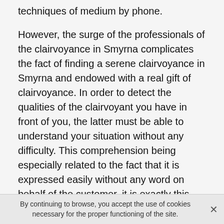techniques of medium by phone.
However, the surge of the professionals of the clairvoyance in Smyrna complicates the fact of finding a serene clairvoyance in Smyrna and endowed with a real gift of clairvoyance. In order to detect the qualities of the clairvoyant you have in front of you, the latter must be able to understand your situation without any difficulty. This comprehension being especially related to the fact that it is expressed easily without any word on behalf of the customer, it is exactly this service which we propose to you.
Thus, we deliver to all your questions and concerns solutions adapted to any aspect of your life. Let us also admit that our intervention is legitimately turned towards a quality clairvoyance. This discipline includes several
By continuing to browse, you accept the use of cookies necessary for the proper functioning of the site.